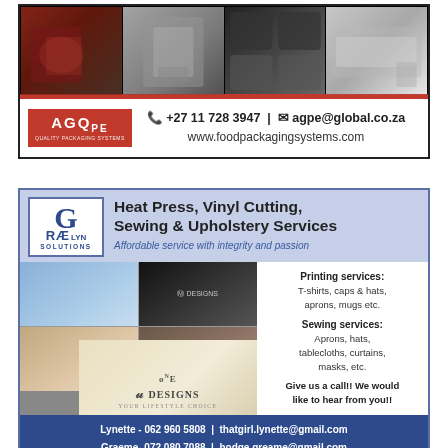[Figure (photo): AGQPE food packaging systems advertisement with product photos (meat, machines, trays) and contact information]
[Figure (photo): Graelyn Solutions advertisement for heat press, vinyl cutting, sewing and upholstery services with product photos and logo]
Heat Press, Vinyl Cutting, Sewing & Upholstery Services
Affordable service with integrity and passion
Printing services: T-shirts, caps & hats, aprons, mugs etc. Sewing services: Aprons, hats, tablecloths, curtains, masks, etc. Give us a call!! We would like to hear from you!!
Lynette - 062 960 5808 | thatgirl.lynette@gmail.com
Graeme- 072 080 7088 | hodge.greame@gmail.com